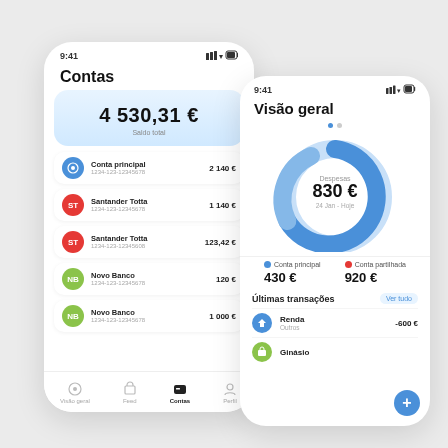[Figure (screenshot): Mobile banking app screenshot - Contas (Accounts) screen showing total balance of 4 530,31 € with 5 bank accounts listed: Conta principal 2 140€, Santander Totta 1 140€, Santander Totta 123,42€, Novo Banco 120€, Novo Banco 1 000€. Bottom navigation bar visible.]
[Figure (screenshot): Mobile banking app screenshot - Visão geral (Overview) screen showing a donut chart with Despesas (Expenses) of 830€ for period 24 Jan - Hoje. Below shows Conta principal 430€ and Conta partilhada 920€. Últimas transações (Last transactions) section with Renda -600€ and Ginásio entries.]